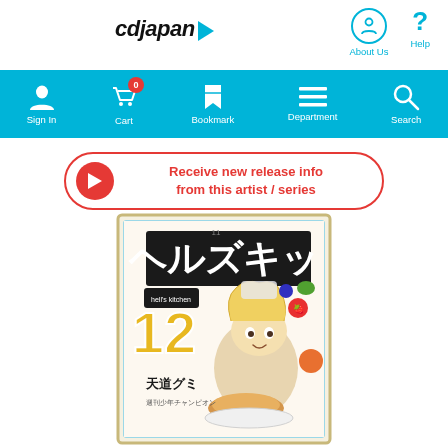[Figure (logo): CDJapan logo with blue arrow]
[Figure (infographic): About Us icon (circled person) and Help icon (question mark)]
[Figure (infographic): Navigation bar with Sign In, Cart (0), Bookmark, Department, Search icons on cyan background]
[Figure (infographic): Red bordered button with red arrow circle: Receive new release info from this artist/series]
[Figure (illustration): Manga book cover: Hell's Kitchen volume 12, Japanese manga with character and food items]